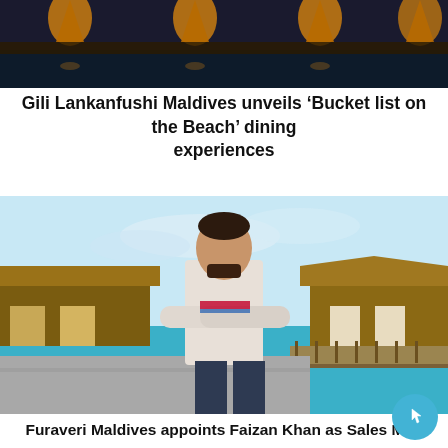[Figure (photo): Top portion of a beach/resort at night with glowing orange lanterns along a waterfront, dark water below and yellow lantern lights against a dark sky]
Gili Lankanfushi Maldives unveils ‘Bucket list on the Beach’ dining experiences
[Figure (photo): A young man with crossed arms standing in front of overwater bungalows in the Maldives with a blue sky and turquoise water in the background]
Furaveri Maldives appoints Faizan Khan as Sales Man